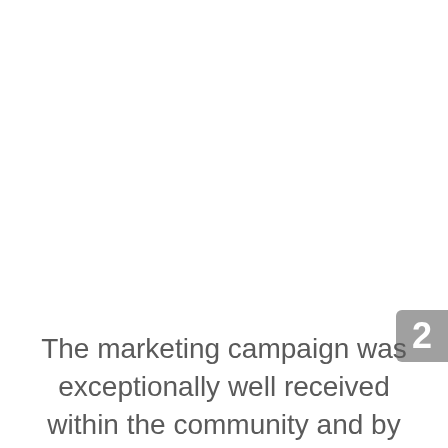2
The marketing campaign was exceptionally well received within the community and by VA leadership. The